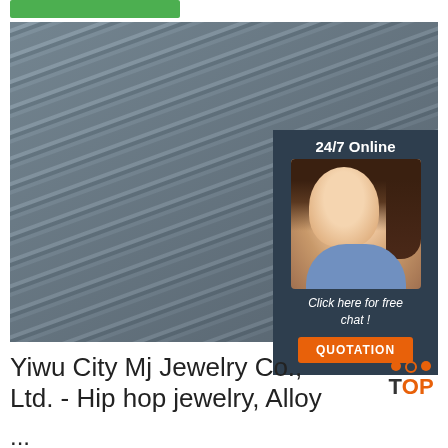[Figure (photo): Green bar at top of page, decorative element]
[Figure (photo): Main large photo of steel rebar/reinforcement bars stacked together, with an overlaid customer service chat widget panel showing a woman with headset, '24/7 Online' text, 'Click here for free chat!' text, and an orange QUOTATION button]
Yiwu City Mj Jewelry Co., Ltd. - Hip hop jewelry, Alloy ...